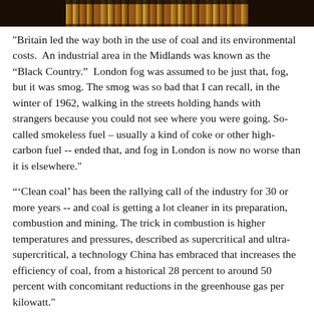[Figure (photo): A horizontal strip showing a colorful photo at the top of the page, appearing to show a market or display scene.]
"Britain led the way both in the use of coal and its environmental costs.  An industrial area in the Midlands was known as the “Black Country.”  London fog was assumed to be just that, fog, but it was smog. The smog was so bad that I can recall, in the winter of 1962, walking in the streets holding hands with strangers because you could not see where you were going. So-called smokeless fuel – usually a kind of coke or other high-carbon fuel -- ended that, and fog in London is now no worse than it is elsewhere."
“‘Clean coal’ has been the rallying call of the industry for 30 or more years -- and coal is getting a lot cleaner in its preparation, combustion and mining. The trick in combustion is higher temperatures and pressures, described as supercritical and ultra-supercritical, a technology China has embraced that increases the efficiency of coal, from a historical 28 percent to around 50 percent with concomitant reductions in the greenhouse gas per kilowatt."